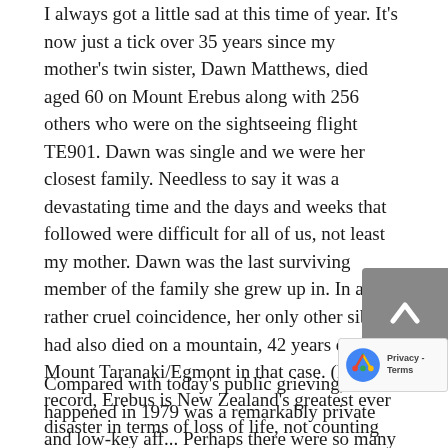I always got a little sad at this time of year. It's now just a tick over 35 years since my mother's twin sister, Dawn Matthews, died aged 60 on Mount Erebus along with 256 others who were on the sightseeing flight TE901. Dawn was single and we were her closest family. Needless to say it was a devastating time and the days and weeks that followed were difficult for all of us, not least my mother. Dawn was the last surviving member of the family she grew up in. In a rather cruel coincidence, her only other sibling had also died on a mountain, 42 years earlier – Mount Taranaki/Egmont in that case. (For the record, Erebus is New Zealand's greatest ever disaster in terms of loss of life, not counting epidemics or war.)
Compared with today's public grieving, what happened in 1979 was a remarkably private and low-key aff... Perhaps there were so many bereaved families (j... over 200 of those on board were New Zealander...